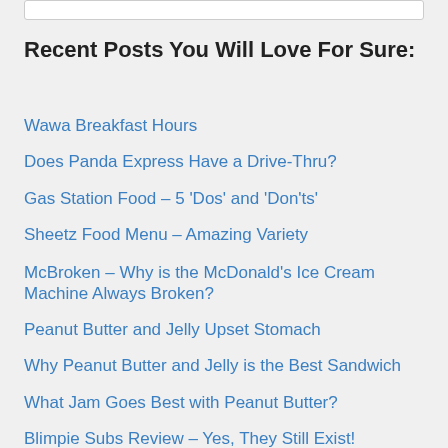Recent Posts You Will Love For Sure:
Wawa Breakfast Hours
Does Panda Express Have a Drive-Thru?
Gas Station Food – 5 'Dos' and 'Don'ts'
Sheetz Food Menu – Amazing Variety
McBroken – Why is the McDonald's Ice Cream Machine Always Broken?
Peanut Butter and Jelly Upset Stomach
Why Peanut Butter and Jelly is the Best Sandwich
What Jam Goes Best with Peanut Butter?
Blimpie Subs Review – Yes, They Still Exist!
What is in a Blimpie Best?
Blimpie Sub Sizes in Inches